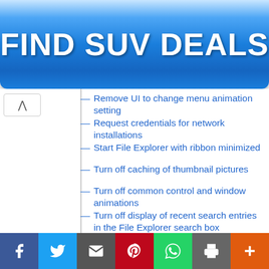[Figure (other): Blue gradient banner button with text FIND SUV DEALS]
Remove UI to change menu animation setting
Request credentials for network installations
Start File Explorer with ribbon minimized
Turn off caching of thumbnail pictures
Turn off common control and window animations
Turn off display of recent search entries in the File Explorer search box
Turn off numerical sorting in File Explorer
Turn off shell protocol protected mode
Turn off the caching of thumbnails in hidden thumbs.db files
Turn off the display of snippets in Content view mode
Turn off the display of thumbnails and only display icons.
[Figure (other): Social media share bar with Facebook, Twitter, Email, Pinterest, WhatsApp, Print, and More buttons]